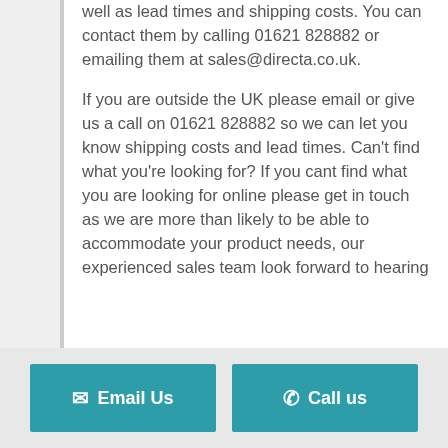well as lead times and shipping costs. You can contact them by calling 01621 828882 or emailing them at sales@directa.co.uk.

If you are outside the UK please email or give us a call on 01621 828882 so we can let you know shipping costs and lead times. Can't find what you're looking for? If you cant find what you are looking for online please get in touch as we are more than likely to be able to accommodate your product needs, our experienced sales team look forward to hearing
Email Us
Call us